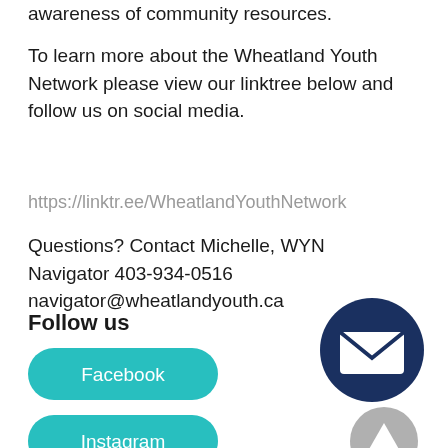awareness of community resources.
To learn more about the Wheatland Youth Network please view our linktree below and follow us on social media.
https://linktr.ee/WheatlandYouthNetwork
Questions? Contact Michelle, WYN Navigator 403-934-0516 navigator@wheatlandyouth.ca
Follow us
[Figure (illustration): Dark navy blue circle with white envelope/mail icon in the center]
[Figure (illustration): Teal/cyan pill-shaped button with white text reading 'Facebook']
[Figure (illustration): Gray circle with white upward arrow icon]
[Figure (illustration): Teal/cyan pill-shaped button with white text reading 'Instagram']